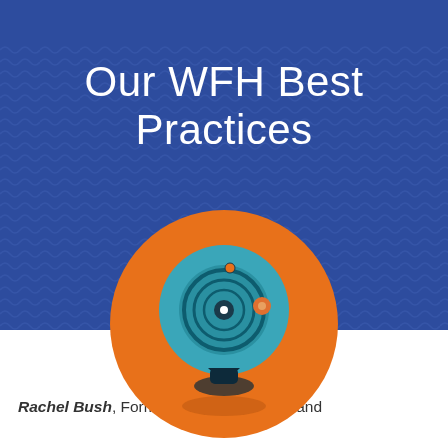viget | Contact
Our WFH Best Practices
[Figure (illustration): Orange circle containing a stylized blue webcam illustration with concentric rings, an orange dot, and a small white highlight dot, on a dark stand with an elliptical shadow]
Rachel Bush, Former Senior Marketing and